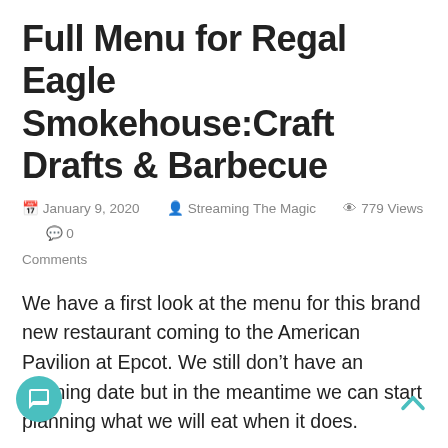Full Menu for Regal Eagle Smokehouse:Craft Drafts & Barbecue
January 9, 2020  Streaming The Magic  779 Views  0 Comments
We have a first look at the menu for this brand new restaurant coming to the American Pavilion at Epcot. We still don't have an opening date but in the meantime we can start planning what we will eat when it does.
Entrées
American Platter Choose 3 Meats,1 side, and Garlic Toast $18.99
Memphis Dry-rub Pork Ribs Dry-rubbed and